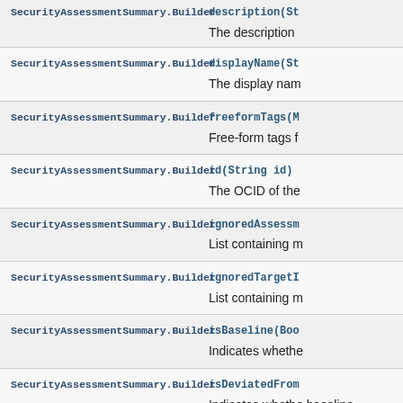| Class | Method / Description |
| --- | --- |
| SecurityAssessmentSummary.Builder | description(St…
The description |
| SecurityAssessmentSummary.Builder | displayName(St…
The display nam |
| SecurityAssessmentSummary.Builder | freeformTags(M…
Free-form tags f |
| SecurityAssessmentSummary.Builder | id(String id)
The OCID of the |
| SecurityAssessmentSummary.Builder | ignoredAssessm…
List containing m |
| SecurityAssessmentSummary.Builder | ignoredTargetI…
List containing m |
| SecurityAssessmentSummary.Builder | isBaseline(Boo…
Indicates whethe |
| SecurityAssessmentSummary.Builder | isDeviatedFrom…
Indicates whethe baseline. |